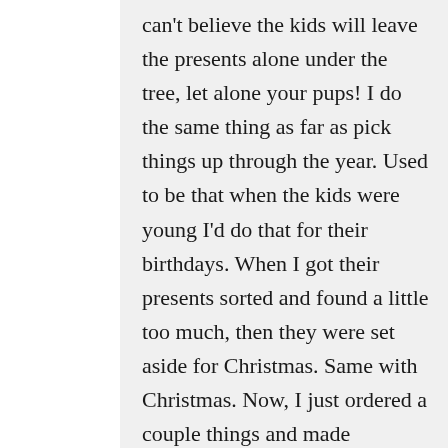can't believe the kids will leave the presents alone under the tree, let alone your pups! I do the same thing as far as pick things up through the year. Used to be that when the kids were young I'd do that for their birthdays. When I got their presents sorted and found a little too much, then they were set aside for Christmas. Same with Christmas. Now, I just ordered a couple things and made presents! Just got back from the doctor and she prescribed something for my poor abused, gnarly,